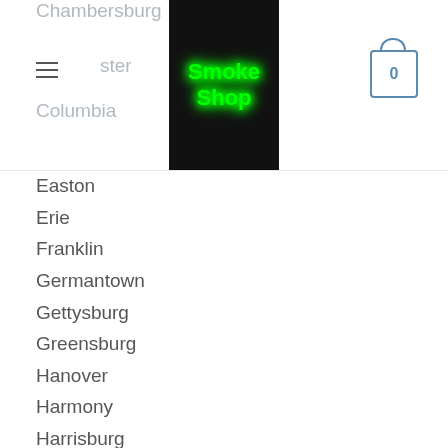Smoke Shop — navigation header with city list
Chambersburg
Lancaster
Columbia
Easton
Erie
Franklin
Germantown
Gettysburg
Greensburg
Hanover
Harmony
Harrisburg
Hazleton
Hershey
Homestead
Honesdale
Indiana
Jeannette